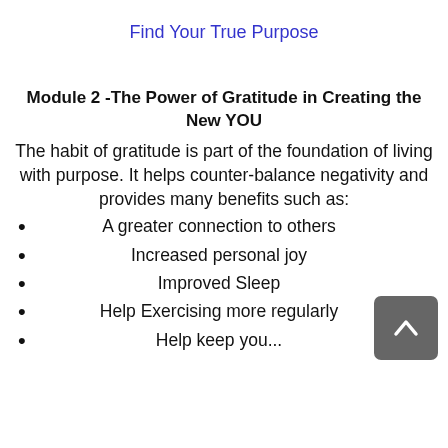Find Your True Purpose
Module 2 -The Power of Gratitude in Creating the New YOU
The habit of gratitude is part of the foundation of living with purpose. It helps counter-balance negativity and provides many benefits such as:
A greater connection to others
Increased personal joy
Improved Sleep
Help Exercising more regularly
Help keep you...